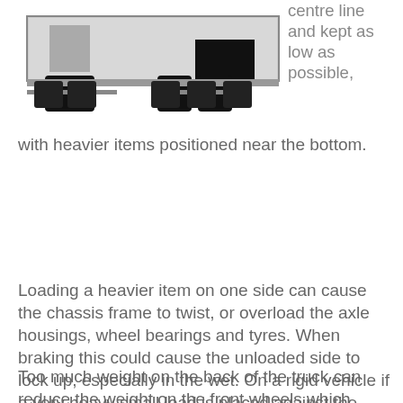[Figure (illustration): Top-down or front-view schematic of a truck/vehicle chassis showing wheels and frame, rendered in black and grey.]
centre line and kept as low as possible, with heavier items positioned near the bottom.
Loading a heavier item on one side can cause the chassis frame to twist, or overload the axle housings, wheel bearings and tyres. When braking this could cause the unloaded side to lock up, especially in the wet. On a rigid vehicle if a very heavy small load is placed against the headboard it could cause the chassis to bend. Very heavy small loads should be placed just ahead of the rear axle and blocked properly.
Too much weight on the back of the truck can reduce the weight on the front wheels which